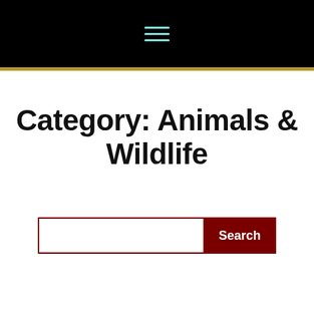≡
Category: Animals & Wildlife
Search